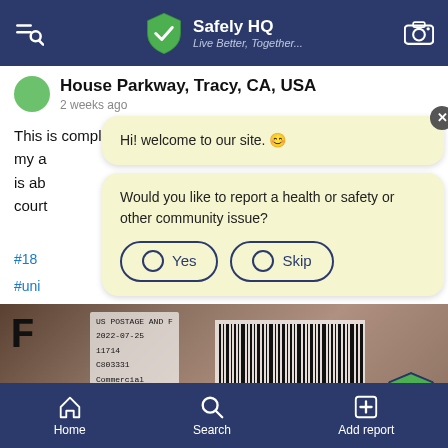Safely HQ — Live Better, Together...
House Parkway, Tracy, CA, USA
2 weeks ago
This is completely unsafe. How the hell would they get my a... is ab... court...
#188
#uni
Hi! welcome to our site. 😊
Would you like to report a health or safety or other community issue?
Yes  Skip
[Figure (photo): Photo of a USPS mail label with barcode and postal information dated 2022-07-25, with a green shield checkmark badge overlay]
Home  Search  Add report